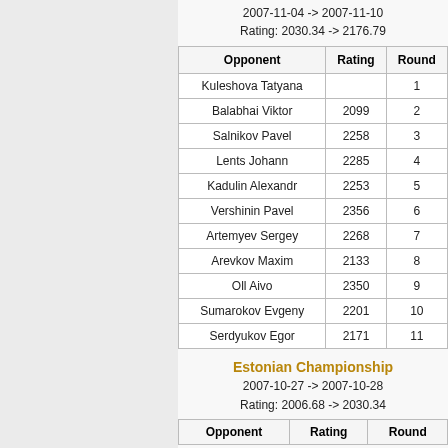2007-11-04 -> 2007-11-10
Rating: 2030.34 -> 2176.79
| Opponent | Rating | Round |
| --- | --- | --- |
| Kuleshova Tatyana |  | 1 |
| Balabhai Viktor | 2099 | 2 |
| Salnikov Pavel | 2258 | 3 |
| Lents Johann | 2285 | 4 |
| Kadulin Alexandr | 2253 | 5 |
| Vershinin Pavel | 2356 | 6 |
| Artemyev Sergey | 2268 | 7 |
| Arevkov Maxim | 2133 | 8 |
| Oll Aivo | 2350 | 9 |
| Sumarokov Evgeny | 2201 | 10 |
| Serdyukov Egor | 2171 | 11 |
Estonian Championship
2007-10-27 -> 2007-10-28
Rating: 2006.68 -> 2030.34